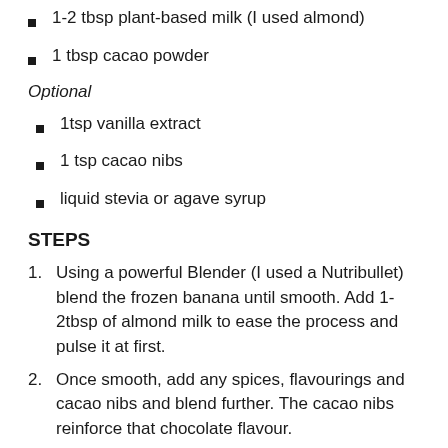1-2 tbsp plant-based milk (I used almond)
1 tbsp cacao powder
Optional
1tsp vanilla extract
1 tsp cacao nibs
liquid stevia or agave syrup
STEPS
Using a powerful Blender (I used a Nutribullet) blend the frozen banana until smooth. Add 1-2tbsp of almond milk to ease the process and pulse it at first.
Once smooth, add any spices, flavourings and cacao nibs and blend further. The cacao nibs reinforce that chocolate flavour.
Spoon the Nice cream into a bowl and top with granola